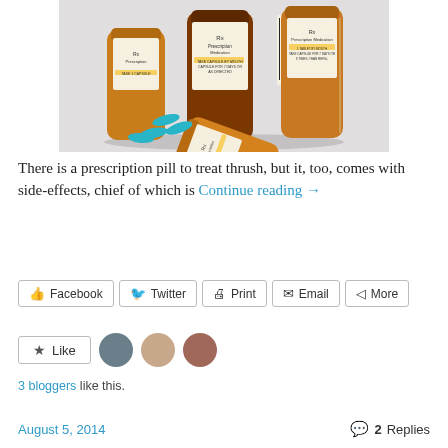[Figure (photo): Photograph of several orange prescription medication bottles, one tipped over with blue capsule pills spilling out, on a light gray background.]
There is a prescription pill to treat thrush, but it, too, comes with side-effects, chief of which is Continue reading →
Facebook  Twitter  Print  Email  More
Like  [3 blogger avatars]
3 bloggers like this.
August 5, 2014   2 Replies